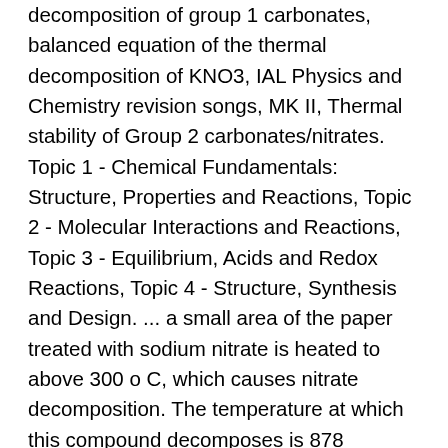decomposition of group 1 carbonates, balanced equation of the thermal decomposition of KNO3, IAL Physics and Chemistry revision songs, MK II, Thermal stability of Group 2 carbonates/nitrates. Topic 1 - Chemical Fundamentals: Structure, Properties and Reactions, Topic 2 - Molecular Interactions and Reactions, Topic 3 - Equilibrium, Acids and Redox Reactions, Topic 4 - Structure, Synthesis and Design. ... a small area of the paper treated with sodium nitrate is heated to above 300 o C, which causes nitrate decomposition. The temperature at which this compound decomposes is 878 degrees Fahrenheit. The oxygen released supports smoldering, so the process keeps going along the drawing lines. (ii) Lithium and magnesium react slowly with water. Nitride, any of a class of chemical compounds in which nitrogen is combined with an element of similar or lower electronegativity, such as boron, silicon, and most metals. Why does (G1) lithium decompose